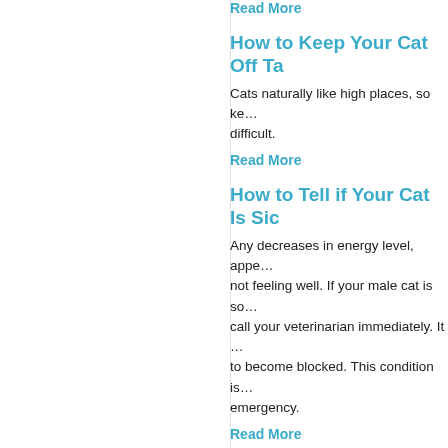Read More
How to Keep Your Cat Off Ta…
Cats naturally like high places, so ke… difficult.
Read More
How to Tell if Your Cat Is Sic…
Any decreases in energy level, appe… not feeling well. If your male cat is so… call your veterinarian immediately. It … to become blocked. This condition is… emergency.
Read More
Human Foods That Are Dan…
A number of human foods are dange… seem tasty to our pets but can prove… offer pets food from the table, but pe… recommended by your veterinarian.
Read More
Hypertension and Your Pet…